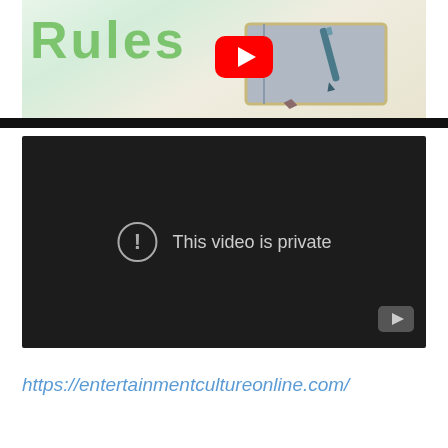[Figure (screenshot): YouTube video thumbnail showing the word 'Rules' in green text on the left, with a gray notebook and pen on a light background, and a YouTube play button overlay in the center.]
[Figure (screenshot): YouTube embedded video player showing a dark/black background with a circle exclamation icon and the text 'This video is private', with a small YouTube icon in the bottom right corner.]
https://entertainmentcultureonline.com/